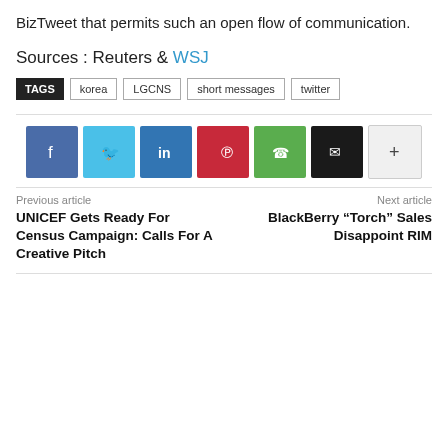BizTweet that permits such an open flow of communication.
Sources : Reuters & WSJ
TAGS  korea  LGCNS  short messages  twitter
[Figure (other): Row of social sharing buttons: Facebook, Twitter, LinkedIn, Pinterest, WhatsApp, Email, More]
Previous article
UNICEF Gets Ready For Census Campaign: Calls For A Creative Pitch
Next article
BlackBerry “Torch” Sales Disappoint RIM